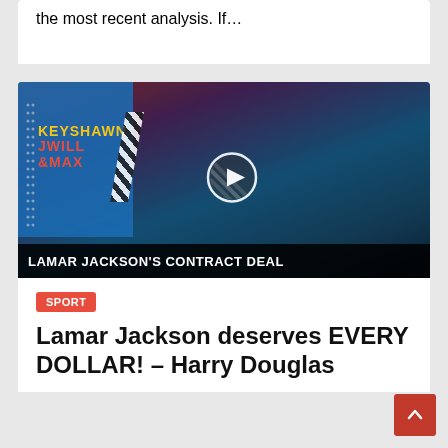the most recent analysis. If…
[Figure (screenshot): Video thumbnail showing ESPN's Keyshawn, JWill & Max show with Lamar Jackson, overlaid with text 'LAMAR JACKSON'S CONTRACT DEAL' and a play button.]
SPORT
Lamar Jackson deserves EVERY DOLLAR! – Harry Douglas